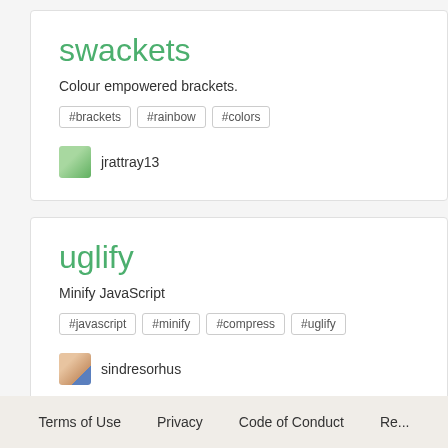swackets
Colour empowered brackets.
#brackets
#rainbow
#colors
jrattray13
uglify
Minify JavaScript
#javascript
#minify
#compress
#uglify
sindresorhus
Terms of Use   Privacy   Code of Conduct   Re...